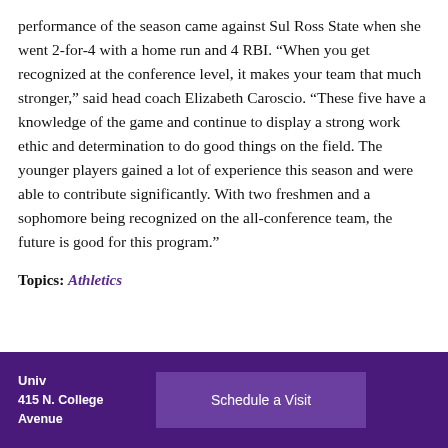performance of the season came against Sul Ross State when she went 2-for-4 with a home run and 4 RBI. “When you get recognized at the conference level, it makes your team that much stronger,” said head coach Elizabeth Caroscio. “These five have a knowledge of the game and continue to display a strong work ethic and determination to do good things on the field. The younger players gained a lot of experience this season and were able to contribute significantly. With two freshmen and a sophomore being recognized on the all-conference team, the future is good for this program.”
Topics: Athletics
University
415 N. College Avenue
Schedule a Visit